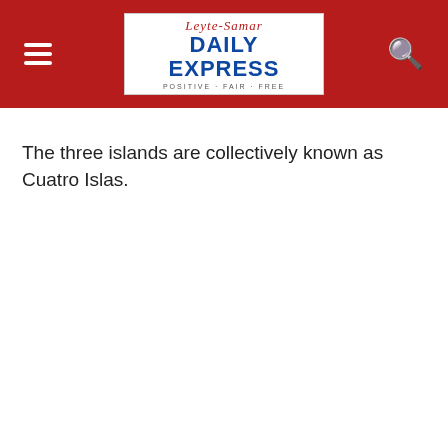Leyte-Samar DAILY EXPRESS · POSITIVE · FAIR · FREE
The three islands are collectively known as Cuatro Islas.